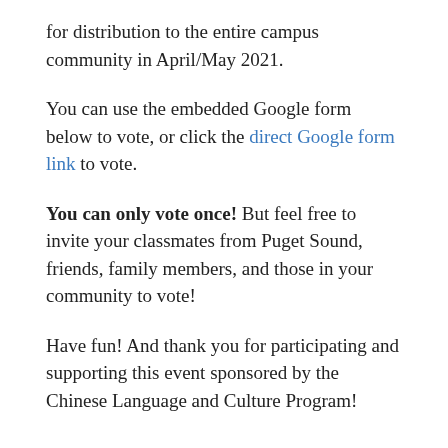for distribution to the entire campus community in April/May 2021.
You can use the embedded Google form below to vote, or click the direct Google form link to vote.
You can only vote once! But feel free to invite your classmates from Puget Sound, friends, family members, and those in your community to vote!
Have fun! And thank you for participating and supporting this event sponsored by the Chinese Language and Culture Program!